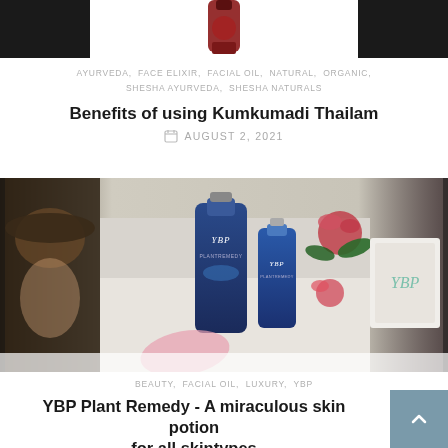[Figure (photo): Top banner image showing a dark background with a red/orange bottle partially visible, with a white card overlay]
AYURVEDA, FACE ELIXIR, FACIAL OIL, NATURAL, ORGANIC, SHESHA AYURVEDA, SHESHA NATURALS
Benefits of using Kumkumadi Thailam
AUGUST 2, 2021
[Figure (photo): Photo of YBP brand blue bottles/vials arranged with flowers and branded notebook on white surface, with a woman wearing a hat visible on the left]
BEAUTY, FACIAL OIL, LUXURY, YBP
YBP Plant Remedy - A miraculous skin potion for all skintypes
MAY 22, 2020